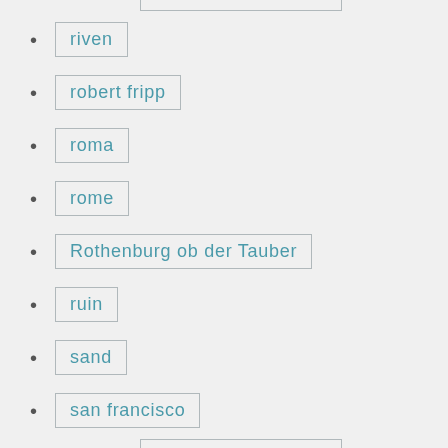riven
robert fripp
roma
rome
Rothenburg ob der Tauber
ruin
sand
san francisco